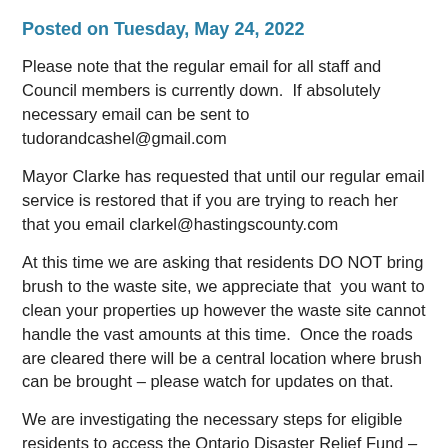Posted on Tuesday, May 24, 2022
Please note that the regular email for all staff and Council members is currently down.  If absolutely necessary email can be sent to tudorandcashel@gmail.com
Mayor Clarke has requested that until our regular email service is restored that if you are trying to reach her that you email clarkel@hastingscounty.com
At this time we are asking that residents DO NOT bring brush to the waste site, we appreciate that  you want to clean your properties up however the waste site cannot handle the vast amounts at this time.  Once the roads are cleared there will be a central location where brush can be brought – please watch for updates on that.
We are investigating the necessary steps for eligible residents to access the Ontario Disaster Relief Fund – again please watch for updates posted here once we know